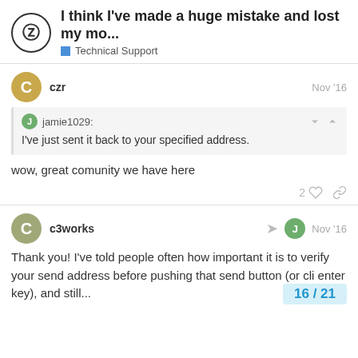I think I've made a huge mistake and lost my mo... — Technical Support
czr — Nov '16
jamie1029: I've just sent it back to your specified address.
wow, great comunity we have here
c3works — Nov '16
Thank you! I've told people often how important it is to verify your send address before pushing that send button (or cli enter key), and still...